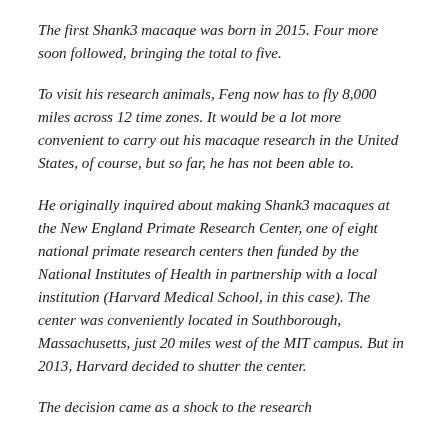The first Shank3 macaque was born in 2015. Four more soon followed, bringing the total to five.
To visit his research animals, Feng now has to fly 8,000 miles across 12 time zones. It would be a lot more convenient to carry out his macaque research in the United States, of course, but so far, he has not been able to.
He originally inquired about making Shank3 macaques at the New England Primate Research Center, one of eight national primate research centers then funded by the National Institutes of Health in partnership with a local institution (Harvard Medical School, in this case). The center was conveniently located in Southborough, Massachusetts, just 20 miles west of the MIT campus. But in 2013, Harvard decided to shutter the center.
The decision came as a shock to the research